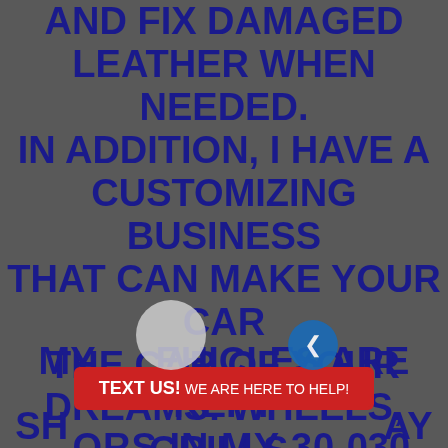AND FIX DAMAGED LEATHER WHEN NEEDED. IN ADDITION, I HAVE A CUSTOMIZING BUSINESS THAT CAN MAKE YOUR CAR THE CAR OF YOUR DREAMS. WHEELS, GRILLS, AUDIO/VIDEO, TINT, CHROME ACCENTS AND CUSTOM PAINT ARE SOME OF THE SERVICES WE PROVIDE. IF YOU CAN IMAGINE IT, WE CAN DO IT. MY VEHICLES ARE KEPT DOORS IN MY 30,000 SH... ...AY
TEXT US! WE ARE HERE TO HELP!